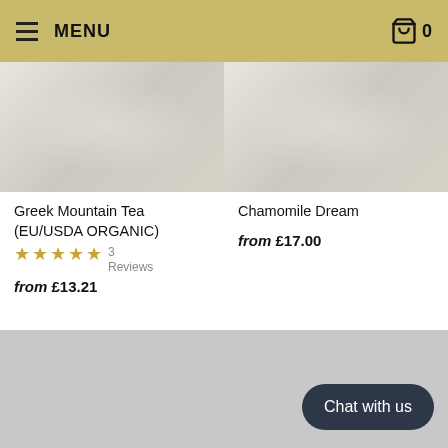MENU  0
[Figure (photo): Product image of Greek Mountain Tea (EU/USDA ORGANIC) - light beige/white textured background]
Greek Mountain Tea (EU/USDA ORGANIC)
3 Reviews
from £13.21
[Figure (photo): Product image of Chamomile Dream - light beige/white textured background]
Chamomile Dream
from £17.00
[Figure (photo): Product image - gray placeholder bottom left]
[Figure (photo): Product image - gray placeholder bottom right]
Chat with us